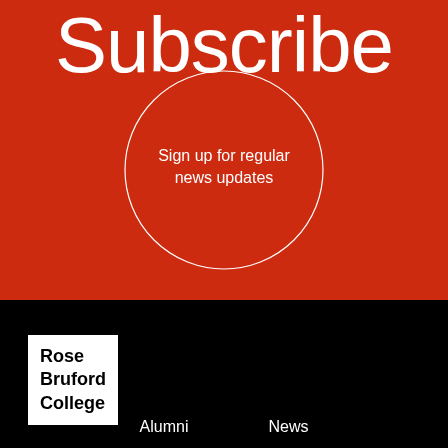Subscribe
Sign up for regular news updates
[Figure (logo): Rose Bruford College logo — white box with bold black text reading Rose Bruford College]
Alumni
News